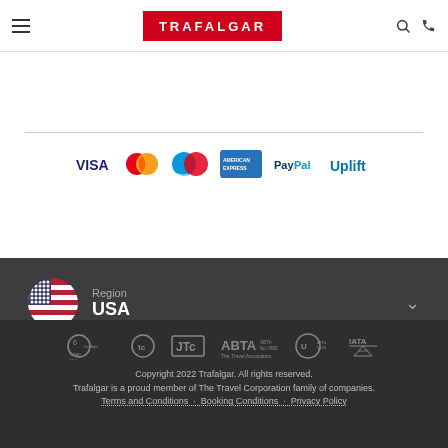[Figure (logo): Trafalgar website header with hamburger menu, red Trafalgar logo, search and phone icons]
[Figure (logo): Payment method logos: VISA, MasterCard, Maestro, American Express, PayPal, Uplift]
[Figure (infographic): Region selector showing USA flag and text 'Region USA' with dropdown chevron on dark background]
[Figure (logo): Footer with TreadRight, TC, ABTA No.Y882, ATOL 5143, IATA logos]
Copyright 2022 Trafalgar. All rights reserved.
Trafalgar is a proud member of The Travel Corporation family of companies.
Terms and Conditions   Booking Conditions   Privacy Policy